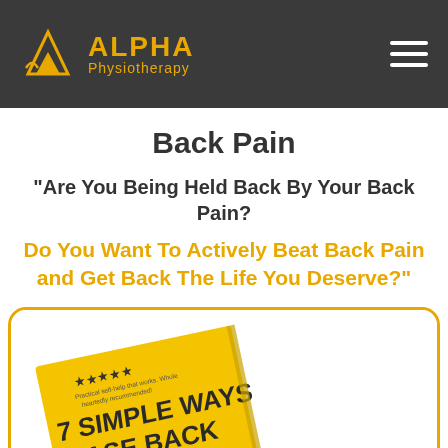[Figure (logo): Alpha Physiotherapy logo with golden triangle/mountain icon and text on dark grey background, with hamburger menu icon on right]
Back Pain
"Are You Being Held Back By Your Back Pain?
Do You Want To Actively Beat Back Pain and Get Back The Life You Deserve?"
[Figure (photo): Partially visible yellow book cover titled '7 SIMPLE WAYS EASE BACK' with 5 star rating and small text, angled on a white rounded-corner card with gold border]